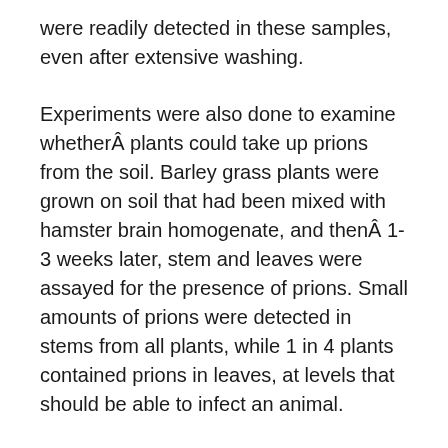were readily detected in these samples, even after extensive washing.
Experiments were also done to examine whetherÂ plants could take up prions from the soil. Barley grass plants were grown on soil that had been mixed with hamster brain homogenate, and thenÂ 1-3 weeks later, stem and leaves were assayed for the presence of prions. Small amounts of prions were detected in stems from all plants, while 1 in 4 plants contained prions in leaves, at levels that should be able to infect an animal.
These results show that prions can bind to plants and be taken into the roots, where they may travel to the stems and leaves. Therefore, it is possible that